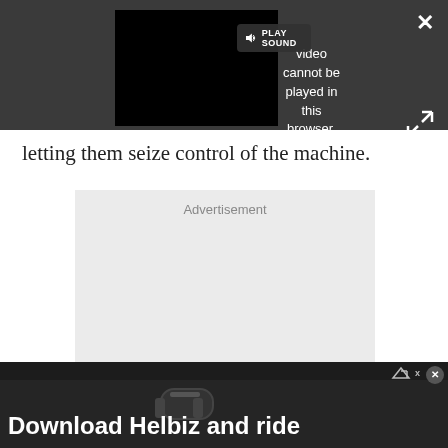[Figure (screenshot): Video player UI showing error: 'Video cannot be played in this browser. (Error Cod' with PLAY SOUND button, close X, and expand arrows on dark grey background]
letting them seize control of the machine.
[Figure (other): Advertisement placeholder box with label 'Advertisement']
[Figure (other): Bottom banner ad for 'Download Helbiz and ride' with scooter handlebar photo, close button and ad icon]